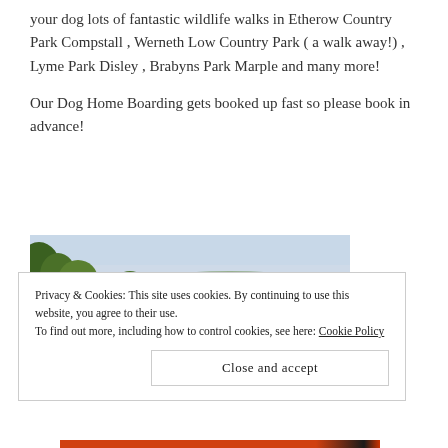your dog lots of fantastic wildlife walks in Etherow Country Park Compstall , Werneth Low Country Park ( a walk away!) , Lyme Park Disley , Brabyns Park Marple and many more!
Our Dog Home Boarding gets booked up fast so please book in advance!
[Figure (photo): Landscape photo showing a panoramic view of rolling green hills and countryside with trees in the foreground including bare trees on the right side and lush green trees on the left, under a cloudy sky.]
Privacy & Cookies: This site uses cookies. By continuing to use this website, you agree to their use.
To find out more, including how to control cookies, see here: Cookie Policy
Close and accept